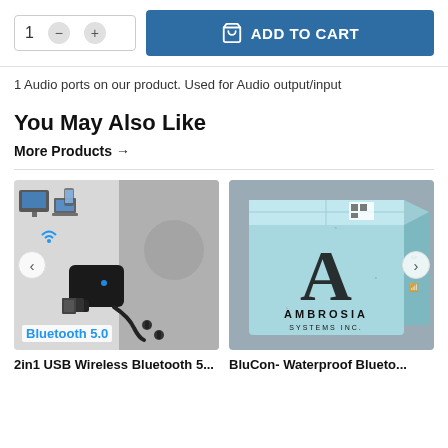[Figure (screenshot): Add to cart UI row with quantity selector showing '1' and minus/plus buttons, and a blue 'ADD TO CART' button with shopping bag icon]
1 Audio ports on our product. Used for Audio output/input
You May Also Like
More Products →
[Figure (photo): Product image of a 2-in-1 USB Wireless Bluetooth 5.0 adapter with cable on a collage background, labeled 'Bluetooth 5.0']
[Figure (photo): Product image of a light blue box labeled 'AMBROSIA SYSTEMS INC' with drone/device icons]
2in1 USB Wireless Bluetooth 5...
BluCon- Waterproof Blueto...